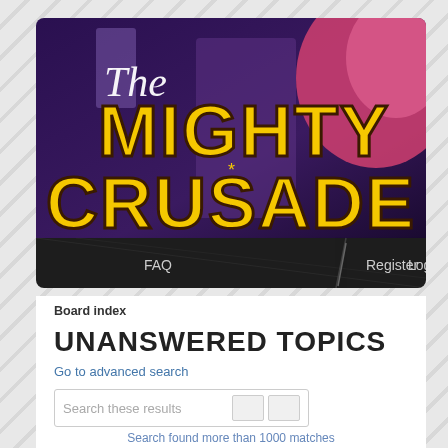[Figure (screenshot): The Mighty Crusade forum banner with large yellow bold text reading 'The MIGHTY CRUSADE' over a colorful illustrated background with comic-style characters]
FAQ   Register   Login
Board index
UNANSWERED TOPICS
Go to advanced search
Search these results
Search found more than 1000 matches
1 2 3 4 5 ... 20